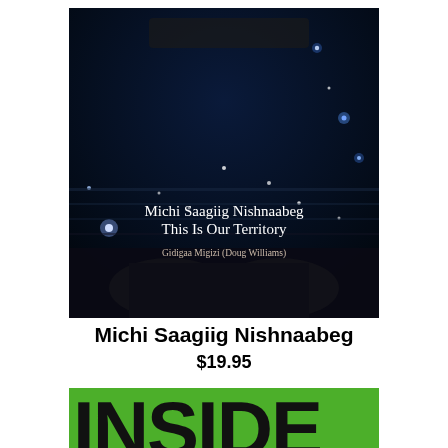[Figure (photo): Book cover of 'Michi Saagiig Nishnaabeg: This Is Our Territory' by Gidigaa Migizi (Doug Williams). Dark blue/black night sky with stars and water, with hands visible at the bottom. Title and author text in white serif font on the cover.]
Michi Saagiig Nishnaabeg
$19.95
[Figure (photo): Partial view of a book cover showing large bold green letters 'INSIDE' on a green background with black text overlay.]